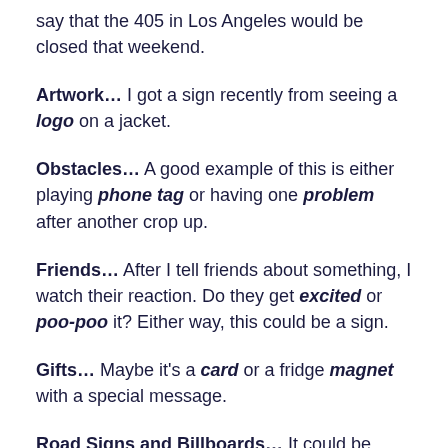say that the 405 in Los Angeles would be closed that weekend.
Artwork… I got a sign recently from seeing a logo on a jacket.
Obstacles… A good example of this is either playing phone tag or having one problem after another crop up.
Friends… After I tell friends about something, I watch their reaction. Do they get excited or poo-poo it? Either way, this could be a sign.
Gifts… Maybe it's a card or a fridge magnet with a special message.
Road Signs and Billboards… It could be someone's name, a location or just about anything that gives you